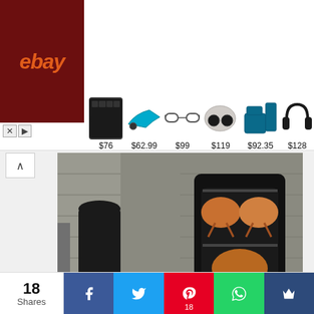[Figure (screenshot): eBay advertisement banner showing products: a speaker ($76), power tool ($62.99), sunglasses ($99), earbuds ($119), tool kit ($92.35), and headphones ($128)]
[Figure (photo): Two photos of a DIY gas bottle hot smoker: left shows the smoker exterior/base, right shows chickens cooking inside the smoker]
DIY Gas Bottle Hot Smoker For Perfectly Smoked BBQ Meat
© 2022 The BBQ Info
18 Shares